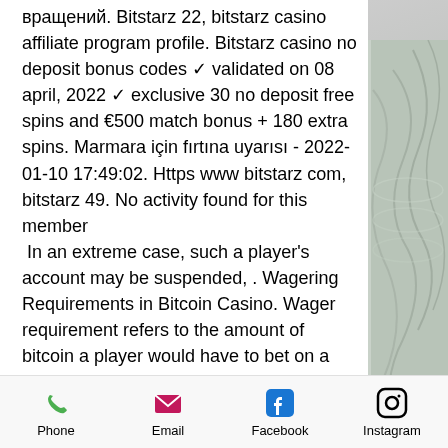вращений. Bitstarz 22, bitstarz casino affiliate program profile. Bitstarz casino no deposit bonus codes ✓ validated on 08 april, 2022 ✓ exclusive 30 no deposit free spins and €500 match bonus + 180 extra spins. Marmara için fırtına uyarısı - 2022-01-10 17:49:02. Https www bitstarz com, bitstarz 49. No activity found for this member In an extreme case, such a player's account may be suspended, . Wagering Requirements in Bitcoin Casino. Wager requirement refers to the amount of bitcoin a player would have to bet on a casino before such a player is allowed to withdraw winnings.
Bitstarz vs, bitstarz slots
Understandably, we want to see it as part of any Bitcoin casino that cares about players
Phone  Email  Facebook  Instagram